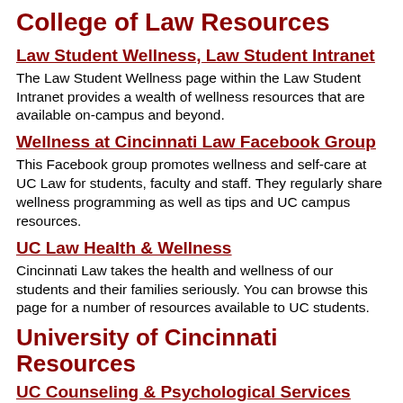College of Law Resources
Law Student Wellness, Law Student Intranet
The Law Student Wellness page within the Law Student Intranet provides a wealth of wellness resources that are available on-campus and beyond.
Wellness at Cincinnati Law Facebook Group
This Facebook group promotes wellness and self-care at UC Law for students, faculty and staff. They regularly share wellness programming as well as tips and UC campus resources.
UC Law Health & Wellness
Cincinnati Law takes the health and wellness of our students and their families seriously. You can browse this page for a number of resources available to UC students.
University of Cincinnati Resources
UC Counseling & Psychological Services